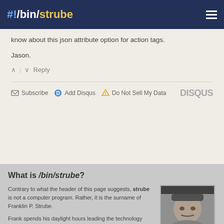#!/bin/strube
know about this json attribute option for action tags.
Jason.
^ | v  Reply
Subscribe  Add Disqus  Do Not Sell My Data  DISQUS
What is /bin/strube?
Contrary to what the header of this page suggests, strube is not a computer program. Rather, it is the surname of Franklin P. Strube.
Frank spends his daylight hours leading the technology team at More Vang and spends his night staying up way too late coding. He is currently:
[Figure (photo): Black and white portrait photo of Franklin P. Strube, a man wearing a cap, looking upward]
Living In
Washington, DC
Working At